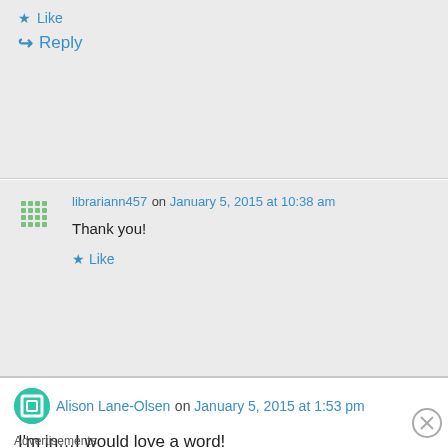Like
↳ Reply
librariann457 on January 5, 2015 at 10:38 am
Thank you!
Like
Alison Lane-Olsen on January 5, 2015 at 1:53 pm
I'm in…I would love a word!
Advertisements